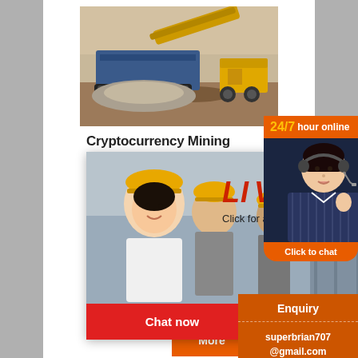[Figure (photo): A large blue mobile mining/crushing machine on a construction site with gravel/rocks in the background]
Cryptocurrency Mining
[Figure (screenshot): Live chat popup overlay showing workers with hard hats in background, LIVE CHAT text in red italic, 'Click for a Free Consultation', Chat now (red) and Chat later (dark) buttons]
[Figure (infographic): 24/7 hour online sidebar panel with customer service agent photo wearing headset, orange background, Click to chat button]
important. Let us help you find the best miner. In our big and diverse coin mining shop, you will find anything from Grin, Monero, Zcash and SiaCoin miners to D... Ethereum, Decred and Bitcoin mining
[Figure (infographic): Enquiry box in orange with email address: superbrian707@gmail.com]
More